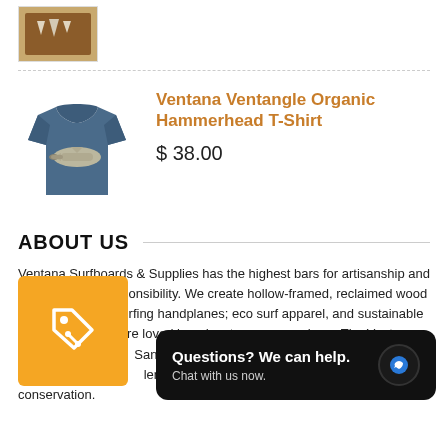[Figure (photo): Small product image of a framed display with teeth/spines, partially visible at top]
[Figure (photo): Blue t-shirt with hammerhead shark graphic]
Ventana Ventangle Organic Hammerhead T-Shirt
$ 38.00
ABOUT US
Ventana Surfboards & Supplies has the highest bars for artisanship and environmental responsibility. We create hollow-framed, reclaimed wood surfboards; bodysurfing handplanes; eco surf apparel, and sustainable surf supplies that are loved by adventurers everywhere. The Ventana team lives a Santa Cruz, California where we test our products on some of the most challenging waves on the planet. p in conservation.
[Figure (logo): Orange square badge with a price tag icon]
Questions? We can help. Chat with us now.